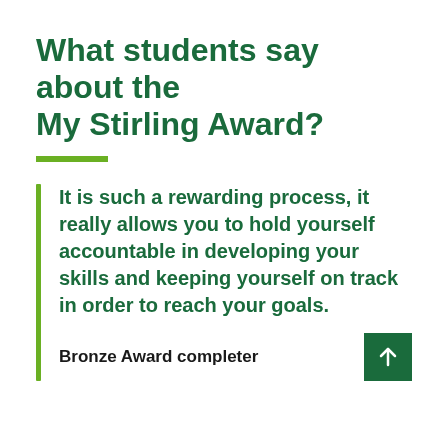What students say about the My Stirling Award?
It is such a rewarding process, it really allows you to hold yourself accountable in developing your skills and keeping yourself on track in order to reach your goals.
Bronze Award completer